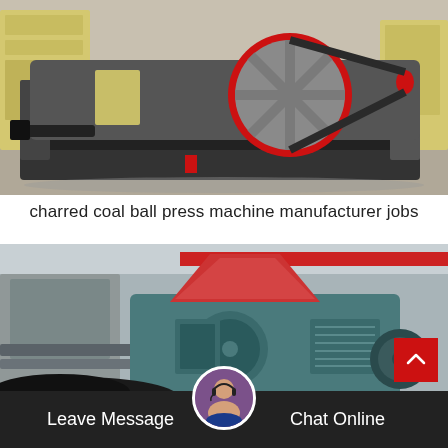[Figure (photo): Industrial jaw crusher / coal ball press machine with red flywheel and black body, in a factory setting with yellow equipment in background]
charred coal ball press machine manufacturer jobs
[Figure (photo): Teal/grey coal briquette ball press machine with hopper on top, in industrial factory setting with red crane visible in background]
Leave Message   Chat Online